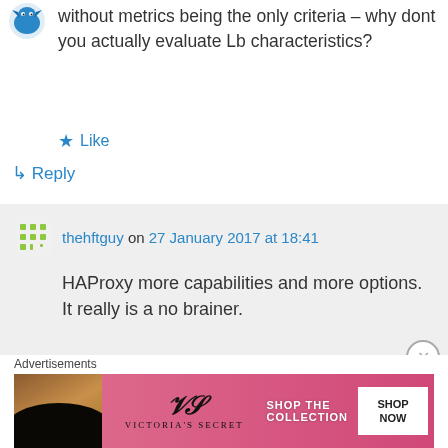[Figure (illustration): Small blue bird/avatar icon at top left]
without metrics being the only criteria – why dont you actually evaluate Lb characteristics?
★ Like
↳ Reply
[Figure (illustration): Green dotted grid avatar icon for thehftguy]
thehftguy on 27 January 2017 at 18:41
HAProxy more capabilities and more options. It really is a no brainer.
★ Like
↳ Reply
Advertisements
[Figure (illustration): Victoria's Secret advertisement banner: SHOP THE COLLECTION, SHOP NOW]